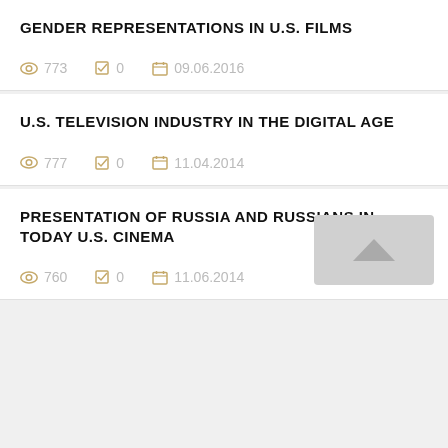GENDER REPRESENTATIONS IN U.S. FILMS
773   0   09.06.2016
U.S. TELEVISION INDUSTRY IN THE DIGITAL AGE
777   0   11.04.2014
PRESENTATION OF RUSSIA AND RUSSIANS IN TODAY U.S. CINEMA
760   0   11.06.2014